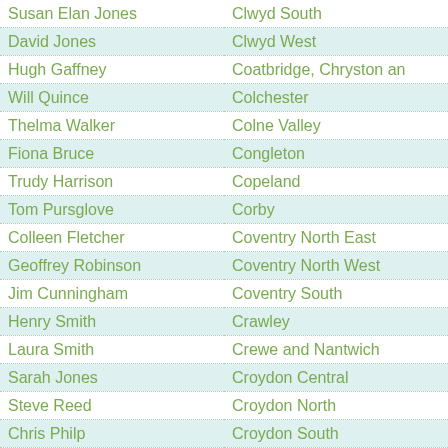| Name | Constituency |
| --- | --- |
| Susan Elan Jones | Clwyd South |
| David Jones | Clwyd West |
| Hugh Gaffney | Coatbridge, Chryston an |
| Will Quince | Colchester |
| Thelma Walker | Colne Valley |
| Fiona Bruce | Congleton |
| Trudy Harrison | Copeland |
| Tom Pursglove | Corby |
| Colleen Fletcher | Coventry North East |
| Geoffrey Robinson | Coventry North West |
| Jim Cunningham | Coventry South |
| Henry Smith | Crawley |
| Laura Smith | Crewe and Nantwich |
| Sarah Jones | Croydon Central |
| Steve Reed | Croydon North |
| Chris Philp | Croydon South |
| Stuart McDonald | Cumbernauld, Kilsyth an |
| Ann Clwyd | Cynon Valley |